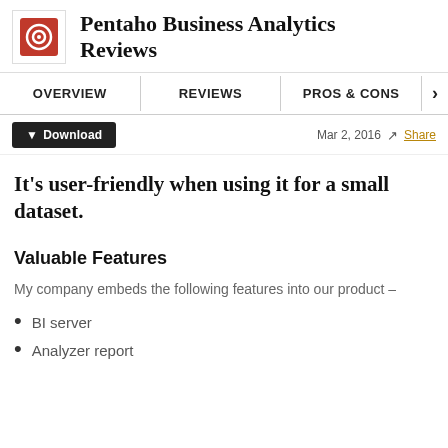Pentaho Business Analytics Reviews
It's user-friendly when using it for a small dataset.
Valuable Features
My company embeds the following features into our product –
BI server
Analyzer report